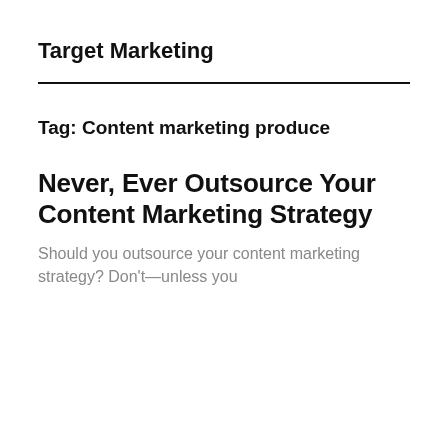Target Marketing
Tag: Content marketing produce
Never, Ever Outsource Your Content Marketing Strategy
Should you outsource your content marketing strategy? Don't—unless you